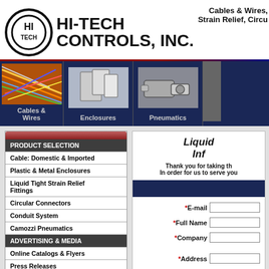HI-TECH CONTROLS, INC. — Cables & Wires, Strain Relief, Circu...
[Figure (screenshot): Navigation bar with Cables & Wires, Enclosures, Pneumatics menu items with product photos]
PRODUCT SELECTION
Cable: Domestic & Imported
Plastic & Metal Enclosures
Liquid Tight Strain Relief Fittings
Circular Connectors
Conduit System
Camozzi Pneumatics
ADVERTISING & MEDIA
Online Catalogs & Flyers
Press Releases
Product Videos
Advertisements
Blog
Product News
Liquid Tight Inf
Thank you for taking th... In order for us to serve you...
*E-mail
*Full Name
*Company
*Address